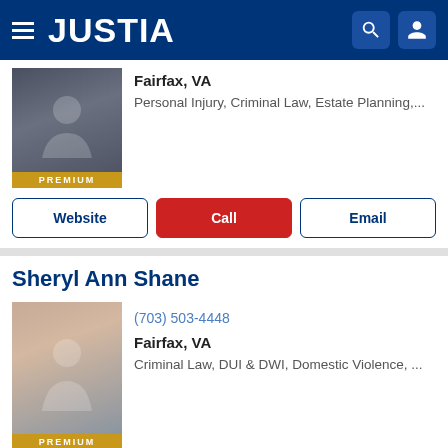JUSTIA
Fairfax, VA
Personal Injury, Criminal Law, Estate Planning,...
Website | Call | Email
Sheryl Ann Shane
(703) 503-4448
Fairfax, VA
Criminal Law, DUI & DWI, Domestic Violence, ...
Website | Call | Email
Laila Raheen